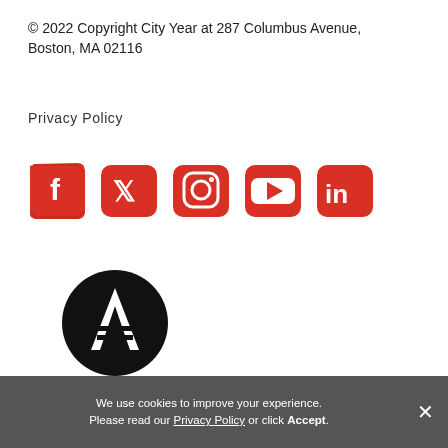© 2022 Copyright City Year at 287 Columbus Avenue, Boston, MA 02116
Privacy Policy
[Figure (illustration): Five red brushstroke social media icons in a row: Facebook, Twitter, Instagram, YouTube, LinkedIn — white icons on red paint-stroke backgrounds]
[Figure (logo): AmeriCorps logo: black circle with stylized 'A' with horizontal lines, and bold 'AmeriCorps' text below]
City Year is available to all, without regard to race, color, national origin, condition, affiliation, disability, and...
We use cookies to improve your experience. Please read our Privacy Policy or click Accept.